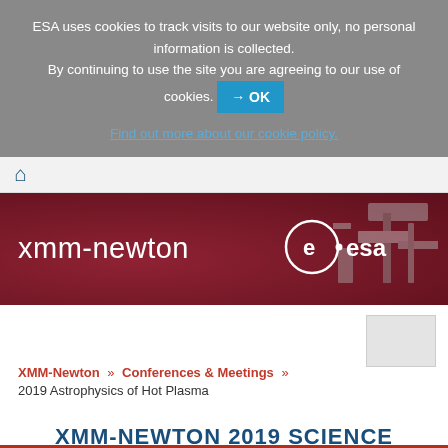ESA uses cookies to track visits to our website only, no personal information is collected. By continuing to use the site you are agreeing to our use of cookies. → OK Find out more about our cookie policy.
[Figure (screenshot): ESA XMM-Newton website header banner showing 'xmm-newton' text in white on dark red/maroon background with ESA logo (circular e+esa) on the right and a satellite silhouette partially visible]
XMM-Newton » Conferences & Meetings »
2019 Astrophysics of Hot Plasma
XMM-NEWTON 2019 SCIENCE WORKSHOP